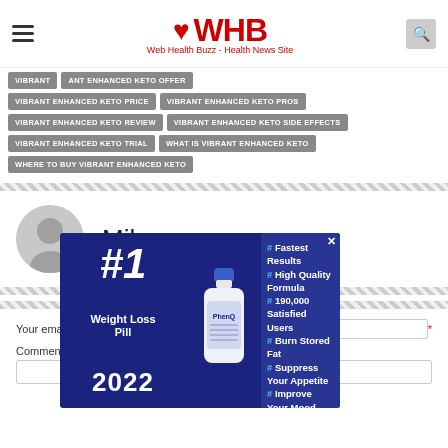WHB - Web Health Buzz - Health News Site
VIBRANT ENHANCED KETO OFFER
VIBRANT ENHANCED KETO PRICE
VIBRANT ENHANCED KETO PROS
VIBRANT ENHANCED KETO REVIEW
VIBRANT ENHANCED KETO SIDE EFFECTS
VIBRANT ENHANCED KETO TRIAL
WHAT IS VIBRANT ENHANCED KETO
WHERE TO BUY VIBRANT ENHANCED KETO
Mike
Your email address
Comment *
[Figure (infographic): Advertisement overlay for #1 Weight Loss Pill 2022 featuring PhenQ bottle and bullet points: Fastest Results, High Quality Formula, 190,000 Satisfied Users, Burn Stored Fat, Suppress Your Appetite, Improve Your Mood]